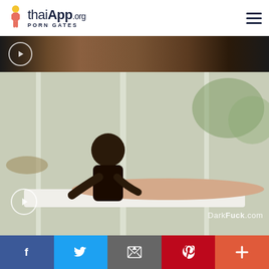[Figure (logo): thaiApp.org PORN GATES logo with female figure icon]
[Figure (photo): Partial video thumbnail strip showing adult content in dark tones]
[Figure (photo): Main video thumbnail: massage scene with watermark DarkFuck.com]
[Figure (infographic): Social sharing bar with Facebook, Twitter, Email, Pinterest, and Plus buttons]